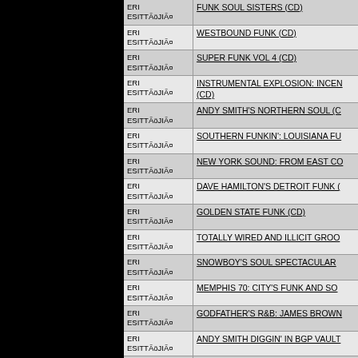| Artist | Title |
| --- | --- |
| ERI ESITTÃöJIÃ¤ | FUNK SOUL SISTERS (CD) |
| ERI ESITTÃöJIÃ¤ | WESTBOUND FUNK (CD) |
| ERI ESITTÃöJIÃ¤ | SUPER FUNK VOL 4 (CD) |
| ERI ESITTÃöJIÃ¤ | INSTRUMENTAL EXPLOSION: INCEN (CD) |
| ERI ESITTÃöJIÃ¤ | ANDY SMITH'S NORTHERN SOUL (C |
| ERI ESITTÃöJIÃ¤ | SOUTHERN FUNKIN': LOUISIANA FU |
| ERI ESITTÃöJIÃ¤ | NEW YORK SOUND: FROM EAST CO |
| ERI ESITTÃöJIÃ¤ | DAVE HAMILTON'S DETROIT FUNK ( |
| ERI ESITTÃöJIÃ¤ | GOLDEN STATE FUNK (CD) |
| ERI ESITTÃöJIÃ¤ | TOTALLY WIRED AND ILLICIT GROO |
| ERI ESITTÃöJIÃ¤ | SNOWBOY'S SOUL SPECTACULAR |
| ERI ESITTÃöJIÃ¤ | MEMPHIS 70: CITY'S FUNK AND SO |
| ERI ESITTÃöJIÃ¤ | GODFATHER'S R&B: JAMES BROWN |
| ERI ESITTÃöJIÃ¤ | ANDY SMITH DIGGIN' IN BGP VAULT |
| ERI ESITTÃöJIÃ¤ | SOUL OF SPANISH HARLEM (CD) |
| ERI ESITTÃöJIÃ¤ | LONDON STREET SOUL 1988-2009. |
| ERI ESITTÃöJIÃ¤ | BRIDGE INTO NEW AGE (CD) |
| ERI ESITTÃöJIÃ¤ | SUPER BREAKS: RETURN TO OLD S |